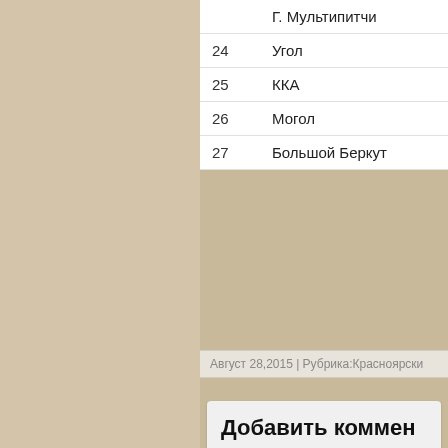|  | Г. Мультипитчи |
| 24 | Угол |
| 25 | ККА |
| 26 | Могол |
| 27 | Большой Беркут |
Август 28,2015 | Рубрика:Красноярски
Добавить коммен